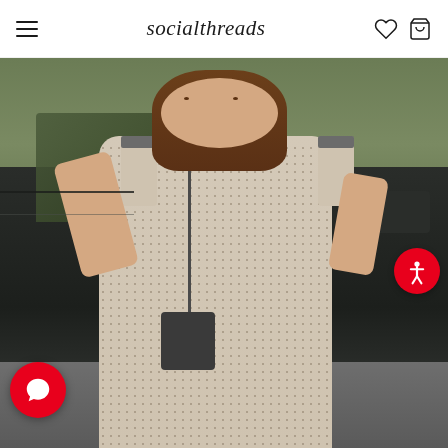socialthreads — navigation header with hamburger menu, logo, heart icon, and cart icon
[Figure (photo): A woman wearing a beige/cream sleeveless maxi dress with a small dark print and gray trim collar, standing in front of a dark SUV outdoors. She has long brown hair and is smiling, holding the strap of a dark crossbody bag. There is a red accessibility icon button in the lower right of the photo and a red chat bubble button in the lower left of the photo.]